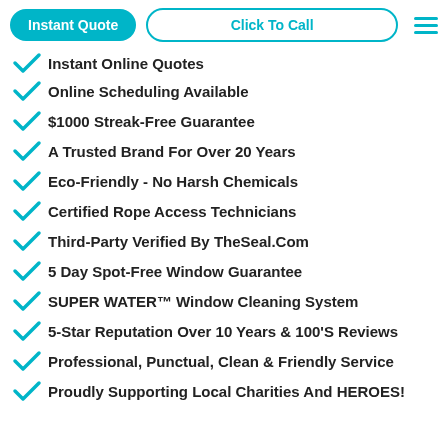Instant Quote | Click To Call
Instant Online Quotes
Online Scheduling Available
$1000 Streak-Free Guarantee
A Trusted Brand For Over 20 Years
Eco-Friendly - No Harsh Chemicals
Certified Rope Access Technicians
Third-Party Verified By TheSeal.Com
5 Day Spot-Free Window Guarantee
SUPER WATER™ Window Cleaning System
5-Star Reputation Over 10 Years & 100'S Reviews
Professional, Punctual, Clean & Friendly Service
Proudly Supporting Local Charities And HEROES!